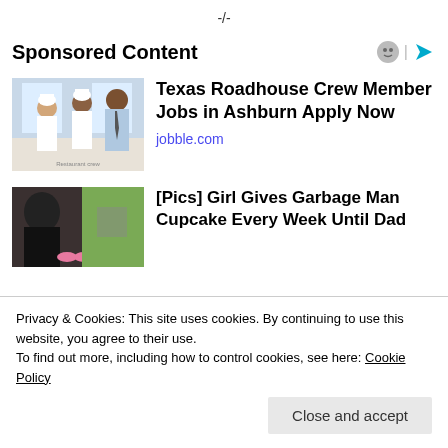-/-
Sponsored Content
[Figure (photo): Restaurant crew members — two chefs in white hats and a man in a dress shirt and tie, smiling]
Texas Roadhouse Crew Member Jobs in Ashburn Apply Now
jobble.com
[Figure (photo): A child with pink shoes outdoors, partially visible]
[Pics] Girl Gives Garbage Man Cupcake Every Week Until Dad
Privacy & Cookies: This site uses cookies. By continuing to use this website, you agree to their use.
To find out more, including how to control cookies, see here: Cookie Policy
Close and accept